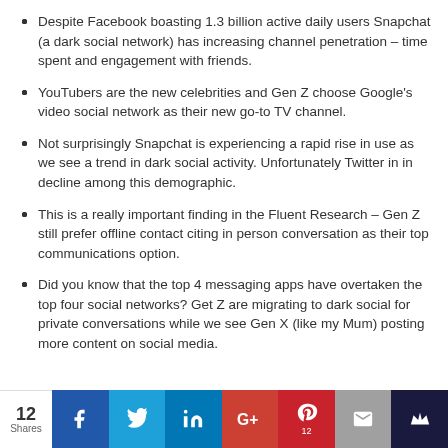Despite Facebook boasting 1.3 billion active daily users Snapchat (a dark social network) has increasing channel penetration – time spent and engagement with friends.
YouTubers are the new celebrities and Gen Z choose Google's video social network as their new go-to TV channel.
Not surprisingly Snapchat is experiencing a rapid rise in use as we see a trend in dark social activity. Unfortunately Twitter in in decline among this demographic.
This is a really important finding in the Fluent Research – Gen Z still prefer offline contact citing in person conversation as their top communications option.
Did you know that the top 4 messaging apps have overtaken the top four social networks? Get Z are migrating to dark social for private conversations while we see Gen X (like my Mum) posting more content on social media.